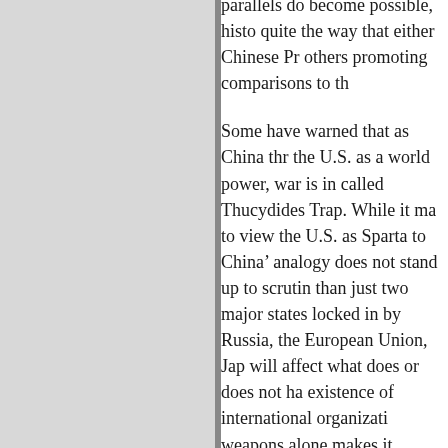parallels do become possible, histo quite the way that either Chinese Pr others promoting comparisons to th
Some have warned that as China thr the U.S. as a world power, war is in called Thucydides Trap. While it ma to view the U.S. as Sparta to China' analogy does not stand up to scrutin than just two major states locked in by Russia, the European Union, Jap will affect what does or does not ha existence of international organizati weapons alone makes it problemati Greek wars as templates for contem tensions.
Xi's own ideas about the past are pa significant, and similarly flawed. In outward-facing Belt and Road Initia global infrastructure project — and domestically focused “Chinese drea national rejuvenation, he advances